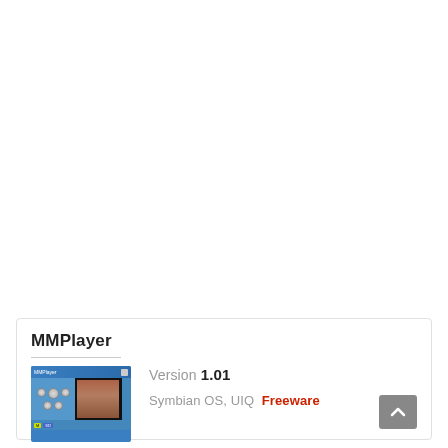MMPlayer
[Figure (screenshot): MMPlayer application screenshot showing a media player interface with blue UI, control buttons, and a video frame showing a person]
Version 1.01
Symbian OS, UIQ  Freeware